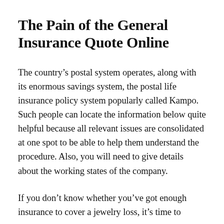The Pain of the General Insurance Quote Online
The country’s postal system operates, along with its enormous savings system, the postal life insurance policy system popularly called Kampo. Such people can locate the information below quite helpful because all relevant issues are consolidated at one spot to be able to help them understand the procedure. Also, you will need to give details about the working states of the company.
If you don’t know whether you’ve got enough insurance to cover a jewelry loss, it’s time to